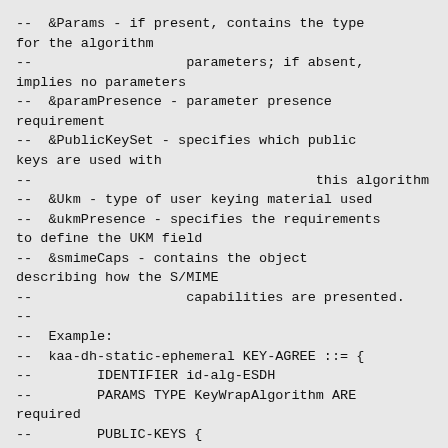--  &Params - if present, contains the type for the algorithm
--                   parameters; if absent, implies no parameters
--  &paramPresence - parameter presence requirement
--  &PublicKeySet - specifies which public keys are used with
--                                   this algorithm
--  &Ukm - type of user keying material used
--  &ukmPresence - specifies the requirements to define the UKM field
--  &smimeCaps - contains the object describing how the S/MIME
--                   capabilities are presented.
--
--  Example:
--  kaa-dh-static-ephemeral KEY-AGREE ::= {
--        IDENTIFIER id-alg-ESDH
--        PARAMS TYPE KeyWrapAlgorithm ARE required
--        PUBLIC-KEYS {
--            [IDENTIFIER dh-public-number KEY